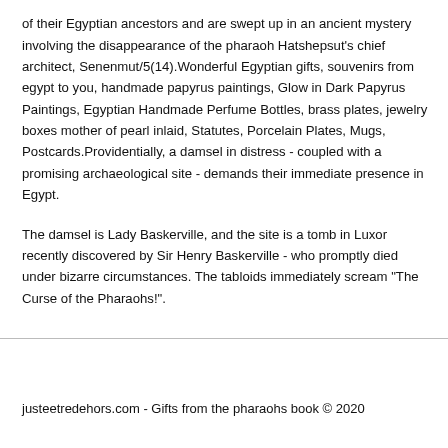of their Egyptian ancestors and are swept up in an ancient mystery involving the disappearance of the pharaoh Hatshepsut's chief architect, Senenmut/5(14).Wonderful Egyptian gifts, souvenirs from egypt to you, handmade papyrus paintings, Glow in Dark Papyrus Paintings, Egyptian Handmade Perfume Bottles, brass plates, jewelry boxes mother of pearl inlaid, Statutes, Porcelain Plates, Mugs, Postcards.Providentially, a damsel in distress - coupled with a promising archaeological site - demands their immediate presence in Egypt.
The damsel is Lady Baskerville, and the site is a tomb in Luxor recently discovered by Sir Henry Baskerville - who promptly died under bizarre circumstances. The tabloids immediately scream "The Curse of the Pharaohs!".
justeetredehors.com - Gifts from the pharaohs book © 2020